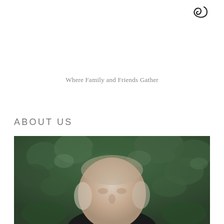[Figure (logo): Decorative swirl/curl logo mark in dark color, positioned top right]
Where Family and Friends Gather
ABOUT US
[Figure (photo): Photograph of an elderly bald man viewed from slightly above, with dark green foliage/hedge in the background]